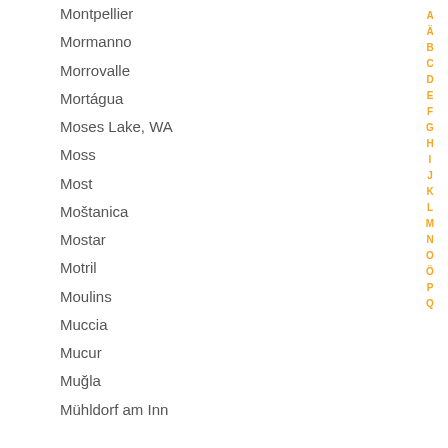Montpellier
Mormanno
Morrovalle
Mortágua
Moses Lake, WA
Moss
Most
Moštanica
Mostar
Motril
Moulins
Muccia
Mucur
Muğla
Mühldorf am Inn